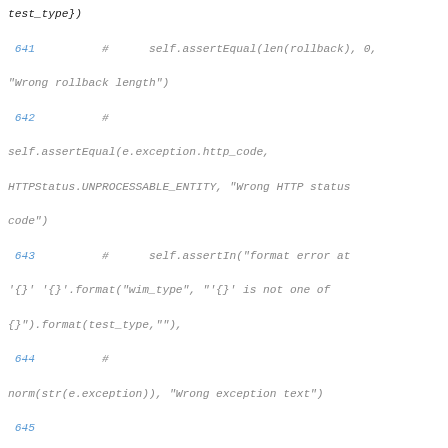Code listing lines 641–653, Python test code with commented assertions and test_conflict_on_new method.